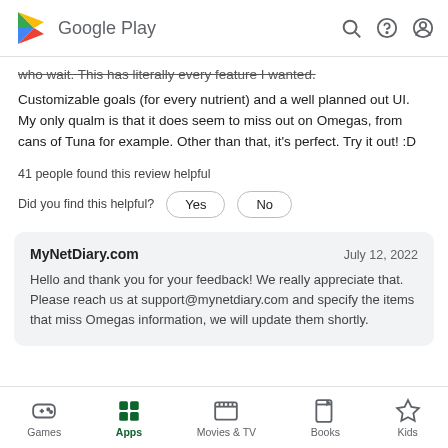Google Play
who wait. This has literally every feature I wanted. Customizable goals (for every nutrient) and a well planned out UI. My only qualm is that it does seem to miss out on Omegas, from cans of Tuna for example. Other than that, it's perfect. Try it out! :D
41 people found this review helpful
Did you find this helpful?   Yes   No
MyNetDiary.com   July 12, 2022
Hello and thank you for your feedback! We really appreciate that. Please reach us at support@mynetdiary.com and specify the items that miss Omegas information, we will update them shortly.
Games   Apps   Movies & TV   Books   Kids